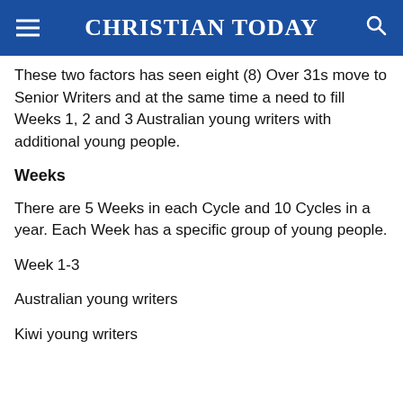CHRISTIAN TODAY
These two factors has seen eight (8) Over 31s move to Senior Writers and at the same time a need to fill Weeks 1, 2 and 3 Australian young writers with additional young people.
Weeks
There are 5 Weeks in each Cycle and 10 Cycles in a year. Each Week has a specific group of young people.
Week 1-3
Australian young writers
Kiwi young writers